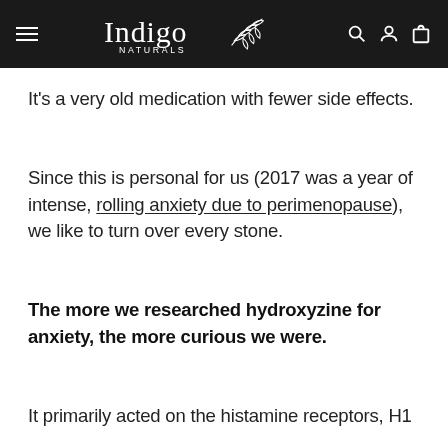Indigo Naturals
It's a very old medication with fewer side effects.
Since this is personal for us (2017 was a year of intense, rolling anxiety due to perimenopause), we like to turn over every stone.
The more we researched hydroxyzine for anxiety, the more curious we were.
It primarily acted on the histamine receptors, H1